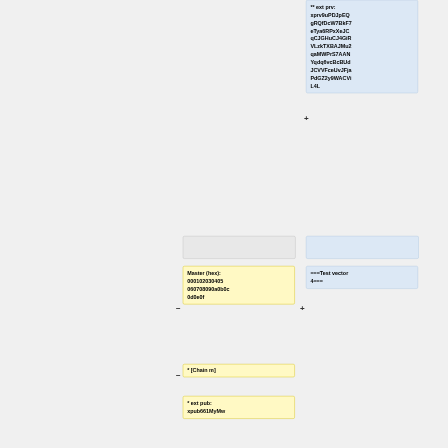** ext prv: xprv9uPDJpEQgRQfDcW7BkF7eTya6RPxXeJCqCJGHuCJ4GiRVLzkTXBAJMu2qaMWPrS7AANYqdq6vcBcBUdJCVVFceUvJFjaPdGZ2y9WACViL4L
Master (hex): 000102030405060708090a0b0c0d0e0f
===Test vector 4===
* [Chain m]
* ext pub: xpub661MyMw